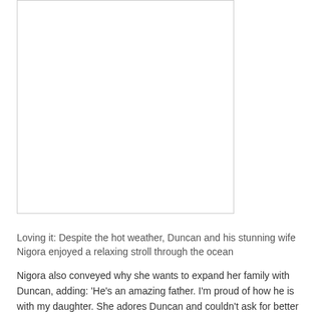[Figure (photo): A photo placeholder showing Duncan and his wife Nigora strolling through the ocean]
Loving it: Despite the hot weather, Duncan and his stunning wife Nigora enjoyed a relaxing stroll through the ocean
Nigora also conveyed why she wants to expand her family with Duncan, adding: 'He's an amazing father. I'm proud of how he is with my daughter. She adores Duncan and couldn't ask for better stepfather.
'He's going to be an amazing father to my future children.'
Duncan and Nigora married in Portugal, where the couple share a home, in 2017 after a two-year courtship.
Talking to MailOnline at the time, he admitted he was thrilled with how the day went, as he gushed about his 'perfect'